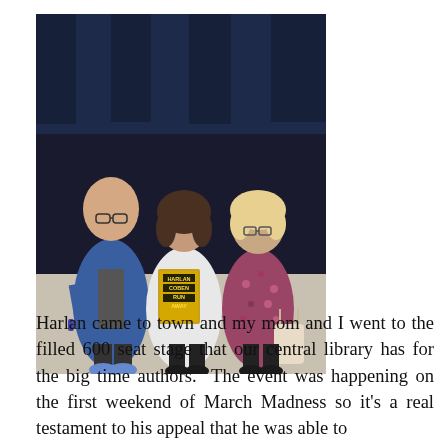[Figure (photo): Three people posing for a photo indoors against a dark blue curtain backdrop. On the left is a tall bald man wearing glasses and a blue blazer. In the center is a woman in a white cardigan holding a book titled 'Harlan Coben Run Away'. On the right is an older woman in a floral top.]
Harlan came to town and my mom and I went to the filled 600 seat stage that our central library has for the big time authors.  The event was happening on the first weekend of March Madness so it's a real testament to his appeal that he was able to